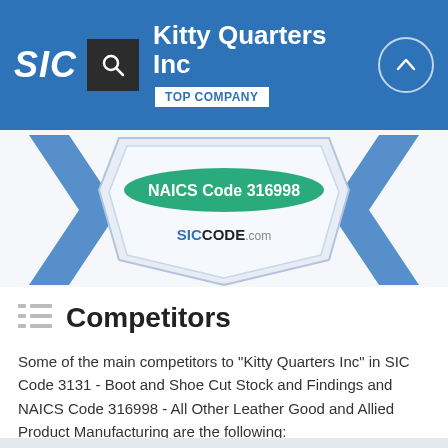SIC | Kitty Quarters Inc | TOP COMPANY
[Figure (illustration): Award badge/ribbon with 'NAICS Code 316998' in green oval and 'SICCODE.com' branding, blue ribbon design on light background]
Competitors
Some of the main competitors to "Kitty Quarters Inc" in SIC Code 3131 - Boot and Shoe Cut Stock and Findings and NAICS Code 316998 - All Other Leather Good and Allied Product Manufacturing are the following: